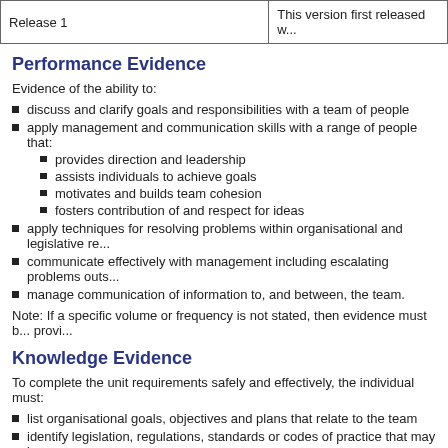| Release 1 | This version first released w... |
| --- | --- |
Performance Evidence
Evidence of the ability to:
discuss and clarify goals and responsibilities with a team of people
apply management and communication skills with a range of people that:
provides direction and leadership
assists individuals to achieve goals
motivates and builds team cohesion
fosters contribution of and respect for ideas
apply techniques for resolving problems within organisational and legislative re...
communicate effectively with management including escalating problems outs...
manage communication of information to, and between, the team.
Note: If a specific volume or frequency is not stated, then evidence must b... provi...
Knowledge Evidence
To complete the unit requirements safely and effectively, the individual must:
list organisational goals, objectives and plans that relate to the team
identify legislation, regulations, standards or codes of practice that may impac...
describe the organisational structure with reference to the organisational chart...